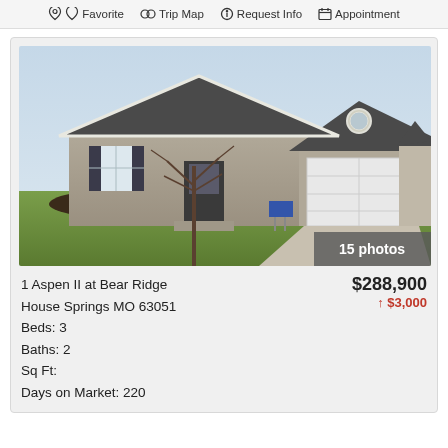Favorite  Trip Map  Request Info  Appointment
[Figure (photo): Front exterior photo of a single-story gray house with attached two-car garage, dark shutters, and freshly landscaped yard. Badge reads '15 photos'.]
1 Aspen II at Bear Ridge
House Springs MO 63051
Beds: 3
Baths: 2
Sq Ft:
Days on Market: 220
$288,900
↑ $3,000